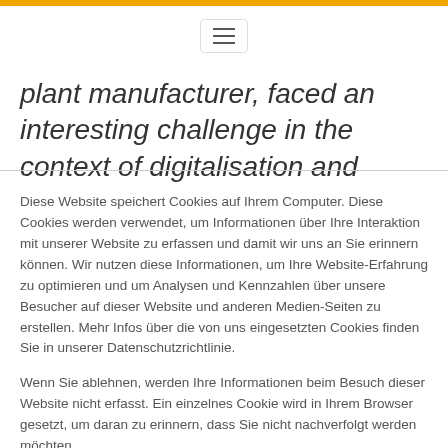≡
plant manufacturer, faced an interesting challenge in the context of digitalisation and
Diese Website speichert Cookies auf Ihrem Computer. Diese Cookies werden verwendet, um Informationen über Ihre Interaktion mit unserer Website zu erfassen und damit wir uns an Sie erinnern können. Wir nutzen diese Informationen, um Ihre Website-Erfahrung zu optimieren und um Analysen und Kennzahlen über unsere Besucher auf dieser Website und anderen Medien-Seiten zu erstellen. Mehr Infos über die von uns eingesetzten Cookies finden Sie in unserer Datenschutzrichtlinie.
Wenn Sie ablehnen, werden Ihre Informationen beim Besuch dieser Website nicht erfasst. Ein einzelnes Cookie wird in Ihrem Browser gesetzt, um daran zu erinnern, dass Sie nicht nachverfolgt werden möchten.
Akzeptieren
Ablehnen